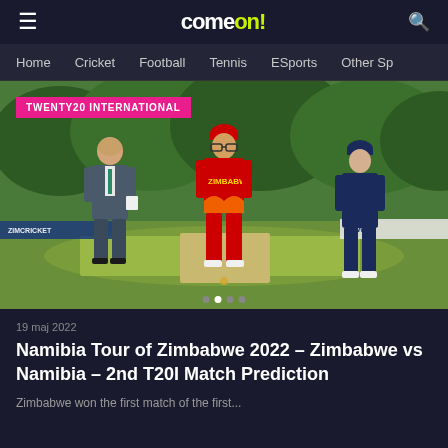comeon!
Home  Cricket  Football  Tennis  ESports  Other Sp
[Figure (photo): Cricket toss scene with three people on a cricket ground, a man in a suit (match official), a Zimbabwe player in red, and a Namibia player in dark blue. Green trees in background. Badge reads TWENTY20 INTERNATIONAL.]
19 maj 2022
Namibia Tour of Zimbabwe 2022 – Zimbabwe vs Namibia – 2nd T20I Match Prediction
Zimbabwe won the first match of their five-match s...